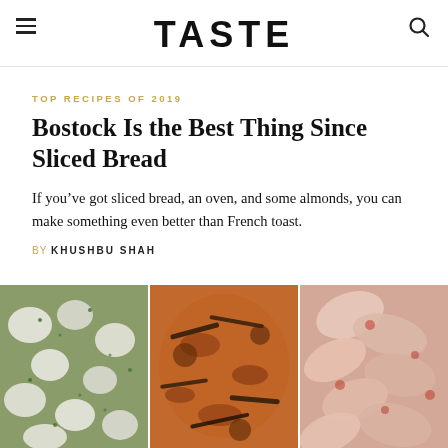TASTE
TOP RECIPES OF 2019
Bostock Is the Best Thing Since Sliced Bread
If you’ve got sliced bread, an oven, and some almonds, you can make something even better than French toast.
BY KHUSHBU SHAH
[Figure (photo): Three food photos side by side: left shows white cheese/ricotta with herbs, center shows a flatbread/pizza with anchovies, right shows sliced mushrooms or meat with red sauce]